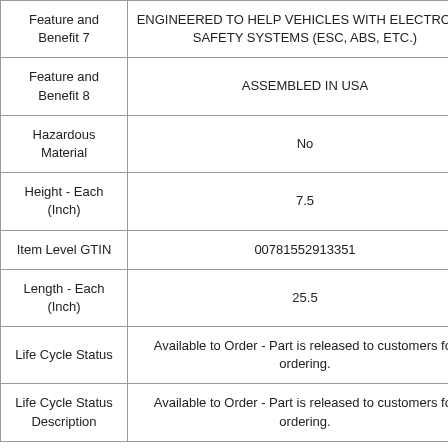| Attribute | Value |
| --- | --- |
| Feature and Benefit 7 | ENGINEERED TO HELP VEHICLES WITH ELECTRONIC SAFETY SYSTEMS (ESC, ABS, ETC.) |
| Feature and Benefit 8 | ASSEMBLED IN USA |
| Hazardous Material | No |
| Height - Each (Inch) | 7.5 |
| Item Level GTIN | 00781552913351 |
| Length - Each (Inch) | 25.5 |
| Life Cycle Status | Available to Order - Part is released to customers for ordering. |
| Life Cycle Status Description | Available to Order - Part is released to customers for ordering. |